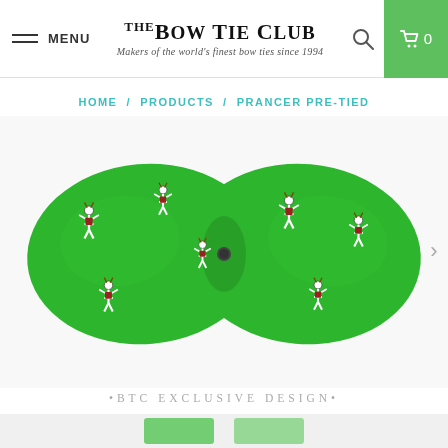MENU | THE BOW TIE CLUB — Makers of the world's finest bow ties since 1994
HOME / PRODUCTS / PRANCER PRE-TIED
[Figure (photo): Green bow tie with cartoon dancing reindeer (Prancer) pattern, pre-tied style, photographed on white background]
•BTC EXCLUSIVE DESIGN•
[Figure (photo): Partial view of additional product images at bottom of page]